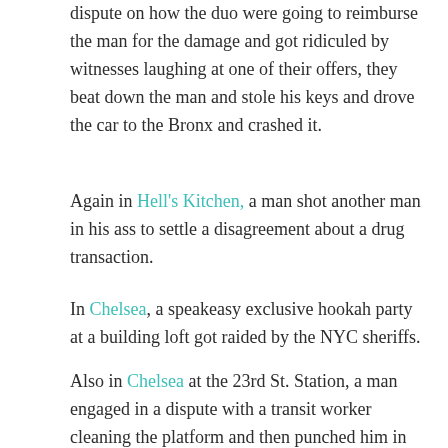dispute on how the duo were going to reimburse the man for the damage and got ridiculed by witnesses laughing at one of their offers, they beat down the man and stole his keys and drove the car to the Bronx and crashed it.
Again in Hell's Kitchen, a man shot another man in his ass to settle a disagreement about a drug transaction.
In Chelsea, a speakeasy exclusive hookah party at a building loft got raided by the NYC sheriffs.
Also in Chelsea at the 23rd St. Station, a man engaged in a dispute with a transit worker cleaning the platform and then punched him in the face.